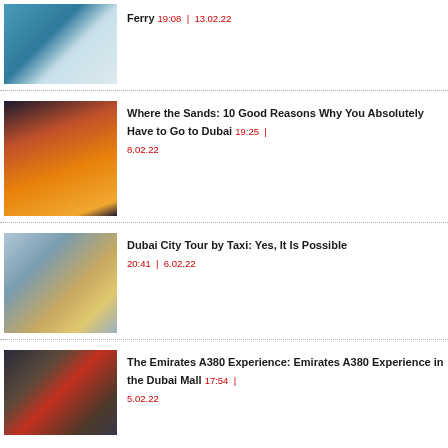[Figure (photo): A modern white ferry/water taxi on a marina with city skyscrapers in the background.]
Ferry 19:08 | 13.02.22
[Figure (photo): Aerial night view of Dubai skyline with lit skyscrapers and highway.]
Where the Sands: 10 Good Reasons Why You Absolutely Have to Go to Dubai 19:25 | 8.02.22
[Figure (photo): A beige/gold taxi car on a Dubai city road with skyscrapers in background.]
Dubai City Tour by Taxi: Yes, It Is Possible 20:41 | 6.02.22
[Figure (photo): Two pilots in uniform inside an Emirates A380 cockpit/flight simulator in Dubai Mall.]
The Emirates A380 Experience: Emirates A380 Experience in the Dubai Mall 17:54 | 5.02.22